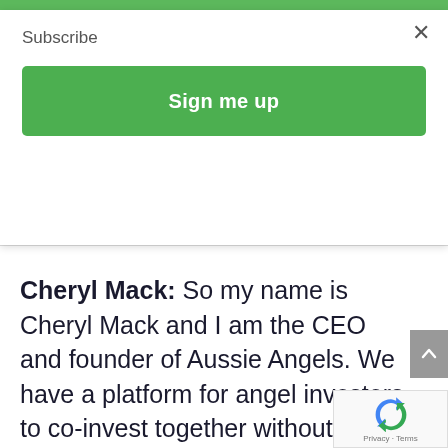Subscribe
Sign me up
Cheryl Mack: So my name is Cheryl Mack and I am the CEO and founder of Aussie Angels. We have a platform for angel investors to co-invest together without having to worry about any of the admin or compliance or getting an AFSL that is usually required to run a syndicate. So if you're looking
[Figure (other): reCAPTCHA logo and Privacy - Terms link]